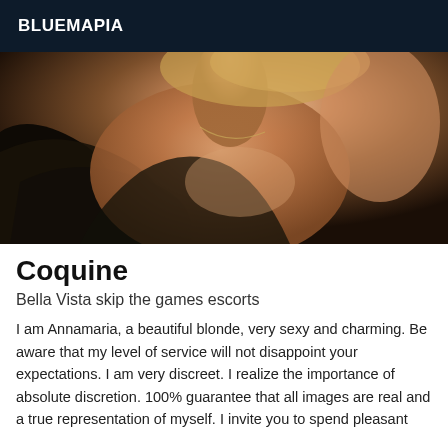BLUEMAPIA
[Figure (photo): A blonde woman wearing a dark off-shoulder garment, photographed from neck/chest level.]
Coquine
Bella Vista skip the games escorts
I am Annamaria, a beautiful blonde, very sexy and charming. Be aware that my level of service will not disappoint your expectations. I am very discreet. I realize the importance of absolute discretion. 100% guarantee that all images are real and a true representation of myself. I invite you to spend pleasant